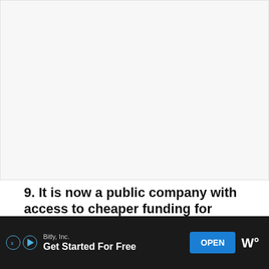[Figure (photo): Blank/whitespace image placeholder area at the top of the page]
9. It is now a public company with access to cheaper funding for expansion.
Airbnb went public in December 2020, giving it ac...ch
[Figure (other): Advertisement banner: Bitly, Inc. — Get Started For Free — OPEN button]